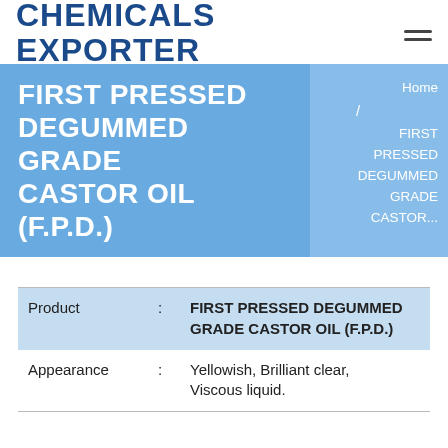CHEMICALS EXPORTER
FIRST PRESSED DEGUMMED GRADE CASTOR OIL (F.P.D.)
Home / FIRST PRESSED DEGUMMED GRADE CASTOR...
| Product | : | FIRST PRESSED DEGUMMED GRADE CASTOR OIL (F.P.D.) |
| Appearance | : | Yellowish, Brilliant clear, Viscous liquid. |